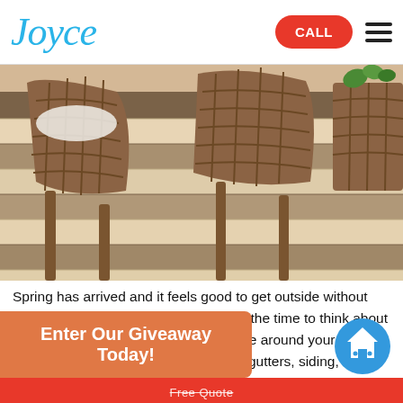Joyce — CALL [hamburger menu]
[Figure (photo): Close-up photo of striped wood-look flooring with wicker chairs and a basket in the background]
Spring has arrived and it feels good to get outside without battling the elements of winter.  Now is the time to think about doing some simple Spring maintenance around your home.  Taking a look at your windows, doors, gutters, siding, deck and sunroom is a great place to start.
Enter Our Giveaway Today!
Free Quote